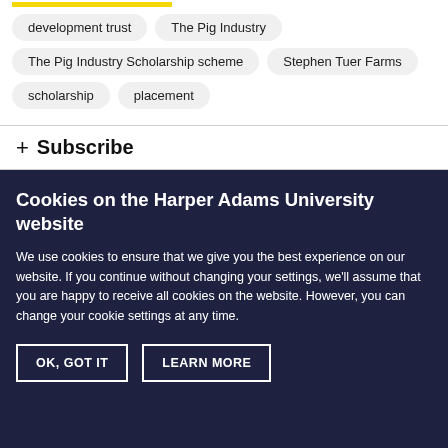development trust
The Pig Industry
The Pig Industry Scholarship scheme
Stephen Tuer Farms
scholarship
placement
+ Subscribe
Cookies on the Harper Adams University website
We use cookies to ensure that we give you the best experience on our website. If you continue without changing your settings, we'll assume that you are happy to receive all cookies on the website. However, you can change your cookie settings at any time.
OK, GOT IT
LEARN MORE